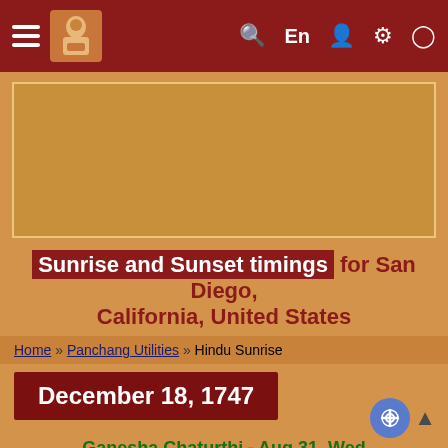[Figure (screenshot): Website navigation bar with hamburger menu, logo of a Hindu sage, search icon, En language selector, user account, settings, and clock icons on dark red background]
[Figure (other): Advertisement banner placeholder with tan/sandy background and light border]
Sunrise and Sunset timings for San Diego, California, United States
Home » Panchang Utilities » Hindu Sunrise
December 18, 1747
Ganesha Chaturthi - Aug 31, Wed
Puja Vidhi, Aarti, Ganesha Names, SMS Lord Ganesha, Chalisa, 8-Ganesh, Rangolis